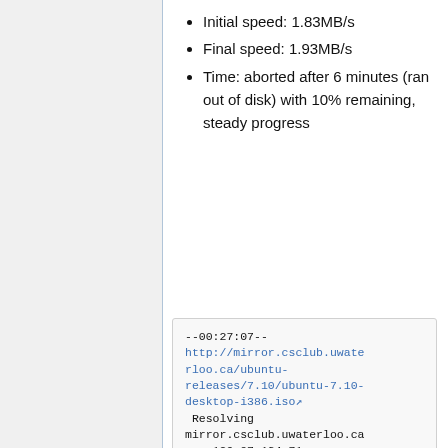Initial speed: 1.83MB/s
Final speed: 1.93MB/s
Time: aborted after 6 minutes (ran out of disk) with 10% remaining, steady progress
--00:27:07--
http://mirror.csclub.uwaterloo.ca/ubuntu-releases/7.10/ubuntu-7.10-desktop-i386.iso
 Resolving mirror.csclub.uwaterloo.ca... 129.97.134.71
 Connecting to mirror.csclub.uwaterloo.ca|129.97.134.71|:80... connected.
 HTTP request sent, awaiting response... 302 Found
 Location: http://citric-...